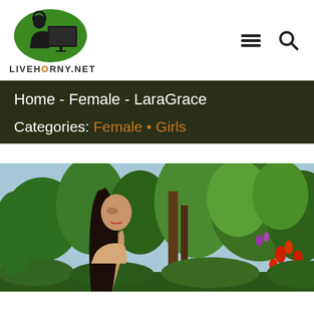[Figure (logo): LiveHorny.Net logo: green shield shape with black silhouette of person at computer, text LIVEHORNY.NET below]
[Figure (infographic): Hamburger menu icon (three horizontal lines) and search magnifying glass icon in dark color]
Home - Female - LaraGrace
Categories: Female • Girls
[Figure (photo): Outdoor photo of a young woman with long dark hair, looking to the side, with lush tropical green vegetation and colorful flowers in background]